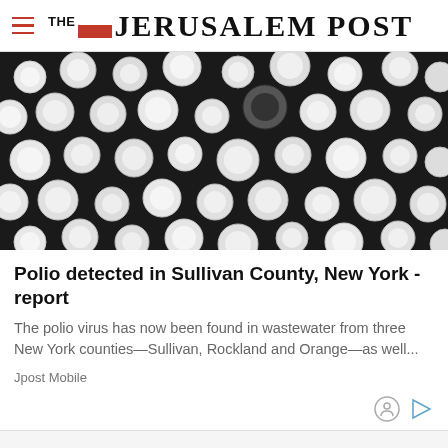THE JERUSALEM POST
[Figure (photo): Black and white electron microscope image of poliovirus particles appearing as round white spheres against a dark background]
Polio detected in Sullivan County, New York - report
The polio virus has now been found in wastewater from three New York counties—Sullivan, Rockland and Orange—as well...
Jpost Mobile
Advertisement